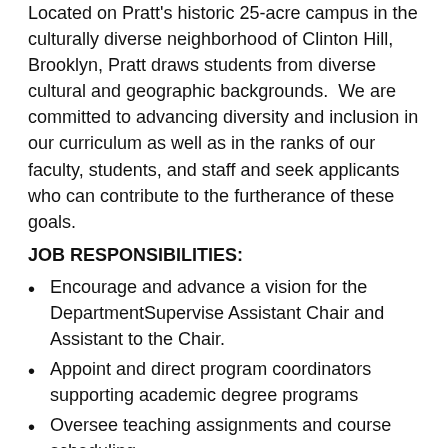Located on Pratt's historic 25-acre campus in the culturally diverse neighborhood of Clinton Hill, Brooklyn, Pratt draws students from diverse cultural and geographic backgrounds.  We are committed to advancing diversity and inclusion in our curriculum as well as in the ranks of our faculty, students, and staff and seek applicants who can contribute to the furtherance of these goals.
JOB RESPONSIBILITIES:
Encourage and advance a vision for the DepartmentSupervise Assistant Chair and Assistant to the Chair.
Appoint and direct program coordinators supporting academic degree programs
Oversee teaching assignments and course scheduling
Oversee faculty recruitment, evaluation, and development
Convene departmental faculty meetings
Oversee curriculum development and revision
Administer the department's budget
Advance collaboration between HMS and other SLAS